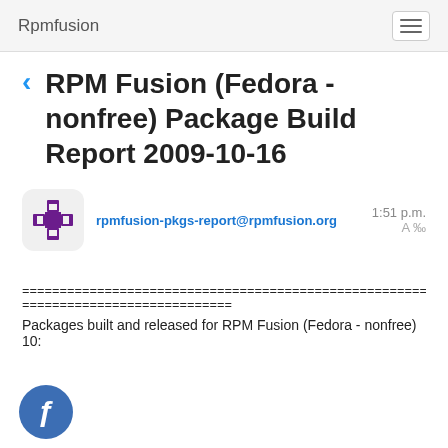Rpmfusion
RPM Fusion (Fedora - nonfree) Package Build Report 2009-10-16
rpmfusion-pkgs-report@rpmfusion.org   1:51 p.m.
A %
========================================================================================================================
Packages built and released for RPM Fusion (Fedora - nonfree) 10: